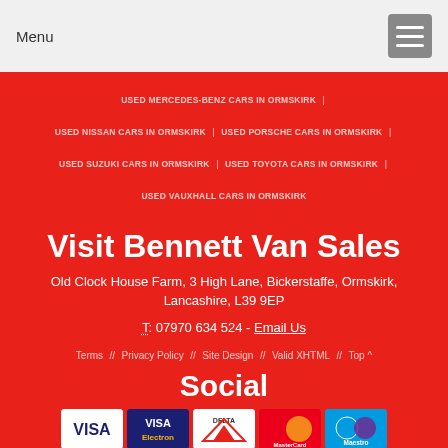Menu
USED MERCEDES-BENZ CARS IN ORMSKIRK
USED NISSAN CARS IN ORMSKIRK | USED PORSCHE CARS IN ORMSKIRK
USED SUZUKI CARS IN ORMSKIRK | USED TOYOTA CARS IN ORMSKIRK
USED VAUXHALL CARS IN ORMSKIRK
Visit Bennett Van Sales
Old Clock House Farm, 3 High Lane, Bickerstaffe, Ormskirk, Lancashire, L39 9EP
T: 07970 634 524 - Email Us
Terms // Privacy Policy // Site Design // Valid XHTML // Top ^
Social
[Figure (other): Payment card logos: VISA, VISA Electron, DELTA, MasterCard, Maestro]